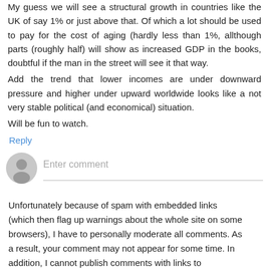My guess we will see a structural growth in countries like the UK of say 1% or just above that. Of which a lot should be used to pay for the cost of aging (hardly less than 1%, allthough parts (roughly half) will show as increased GDP in the books, doubtful if the man in the street will see it that way.
Add the trend that lower incomes are under downward pressure and higher under upward worldwide looks like a not very stable political (and economical) situation.
Will be fun to watch.
Reply
[Figure (illustration): Grey circular avatar icon showing a generic user silhouette]
Enter comment
Unfortunately because of spam with embedded links (which then flag up warnings about the whole site on some browsers), I have to personally moderate all comments. As a result, your comment may not appear for some time. In addition, I cannot publish comments with links to